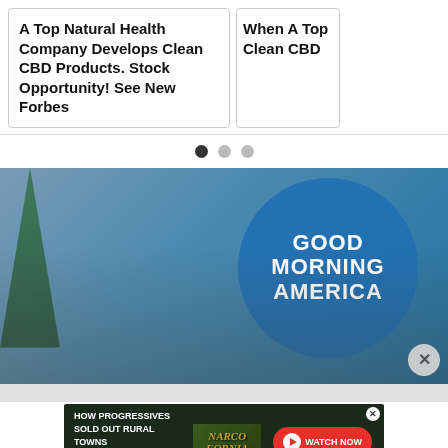[Figure (screenshot): Ad card: A Top Natural Health Company Develops Clean CBD Products. Stock Opportunity! See New Forbes]
[Figure (screenshot): Partial ad card: When A Top Clean CBD]
[Figure (other): Carousel navigation dots: filled, empty, empty]
[Figure (photo): Good Morning America TV show set photo with hosts and food table. Blue GMA logo visible in background.]
[Figure (screenshot): Ad overlay: HOW PROGRESSIVES SOLD OUT RURAL TOWNS TO FOREIGN DRUG LORDS - Narcofornia - WATCH NOW button]
Nutriti... Over 40